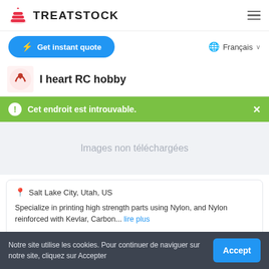[Figure (logo): Treatstock logo with red layered cake icon and bold TREATSTOCK wordmark]
Get instant quote
Français
I heart RC hobby
Cet endroit est introuvable.
Images non téléchargées
Salt Lake City, Utah, US
Specialize in printing high strength parts using Nylon, and Nylon reinforced with Kevlar, Carbon... lire plus
Manufacturing Service
Notre site utilise les cookies. Pour continuer de naviguer sur notre site, cliquez sur Accepter